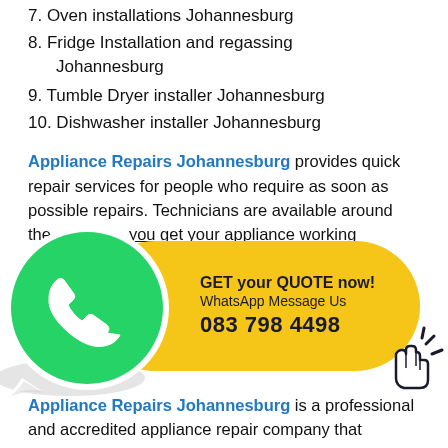7. Oven installations Johannesburg
8. Fridge Installation and regassing Johannesburg
9. Tumble Dryer installer Johannesburg
10. Dishwasher installer Johannesburg
Appliance Repairs Johannesburg provides quick repair services for people who require as soon as possible repairs. Technicians are available around the clock to help you get your appliance working ...
[Figure (infographic): WhatsApp CTA banner with green WhatsApp phone icon on the left and yellow rounded bubble on the right saying GET your QUOTE now! WhatsApp Message Us 083 798 4498 with a cursor click icon]
Appliance Repairs Johannesburg is a professional and accredited appliance repair company that...